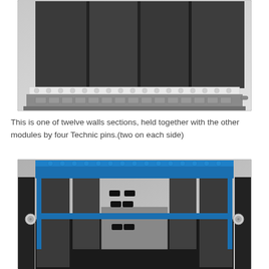[Figure (photo): Close-up photo of LEGO wall section showing dark gray large flat panels supported by a white and gray brick base with LEGO studs visible along the bottom row]
This is one of twelve walls sections, held together with the other modules by four Technic pins.(two on each side)
[Figure (photo): Close-up photo of LEGO wall module assembly showing dark gray and black panels held together with blue LEGO bricks along the top, with visible Technic pin connectors (metallic bolts) on each side]